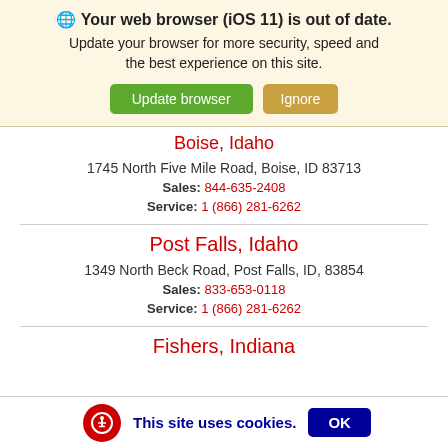Your web browser (iOS 11) is out of date. Update your browser for more security, speed and the best experience on this site. Update browser | Ignore
Boise, Idaho
1745 North Five Mile Road, Boise, ID 83713
Sales: 844-635-2408
Service: 1 (866) 281-6262
Post Falls, Idaho
1349 North Beck Road, Post Falls, ID, 83854
Sales: 833-653-0118
Service: 1 (866) 281-6262
Fishers, Indiana
This site uses cookies. OK